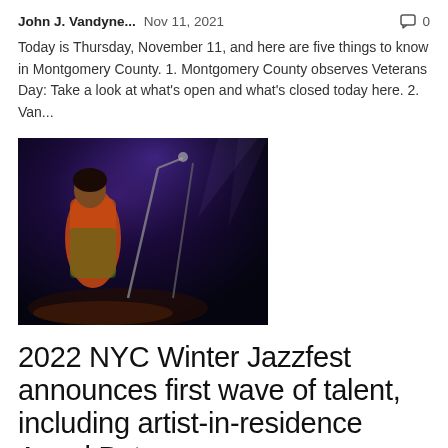John J. Vandyne...   Nov 11, 2021   💬 0
Today is Thursday, November 11, and here are five things to know in Montgomery County. 1. Montgomery County observes Veterans Day: Take a look at what's open and what's closed today here. 2. Van...
[Figure (photo): A performer singing at a microphone on a dark stage, wearing colorful attire with orange and green tones, likely at a jazz concert.]
2022 NYC Winter Jazzfest announces first wave of talent, including artist-in-residence Angel Bat...